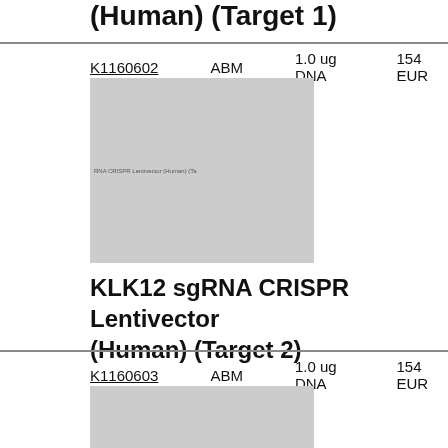(Human) (Target 1)
| Product ID | Supplier | Quantity | Price |
| --- | --- | --- | --- |
| K1160602 | ABM | 1.0 ug DNA | 154 EUR |
[Figure (photo): Product image placeholder for KLK12 sgRNA CRISPR Lentivector (Human) (Target 2)]
KLK12 sgRNA CRISPR Lentivector (Human) (Target 2)
| Product ID | Supplier | Quantity | Price |
| --- | --- | --- | --- |
| K1160603 | ABM | 1.0 ug DNA | 154 EUR |
[Figure (photo): Product image placeholder for KLK12 sgRNA CRISPR Lentivector (Human) (Target 3)]
KLK12 sgRNA CRISPR Lentivector (Human) (Target 3)